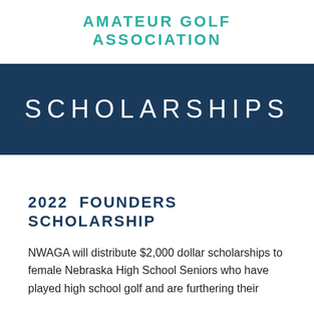AMATEUR GOLF ASSOCIATION
SCHOLARSHIPS
2022 FOUNDERS SCHOLARSHIP
NWAGA will distribute $2,000 dollar scholarships to female Nebraska High School Seniors who have played high school golf and are furthering their